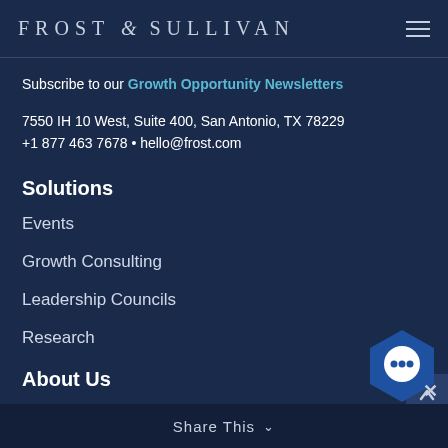FROST & SULLIVAN
Subscribe to our Growth Opportunity Newsletters
7550 IH 10 West, Suite 400, San Antonio, TX 78229
+1 877 463 7678 • hello@frost.com
Solutions
Events
Growth Consulting
Leadership Councils
Research
About Us
Our History
Our Values
Share This ∨